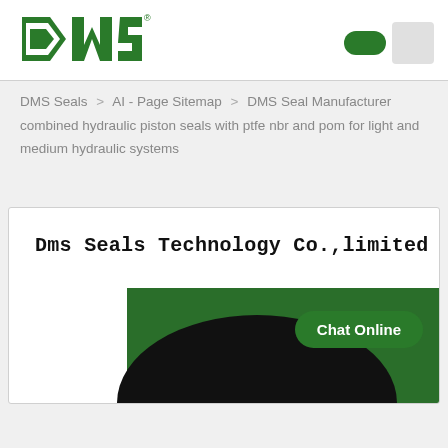DMS Seals Technology Co.,limited — logo header with navigation toggle
DMS Seals > AI - Page Sitemap > DMS Seal Manufacturer combined hydraulic piston seals with ptfe nbr and pom for light and medium hydraulic systems
Dms Seals Technology Co.,limited
[Figure (screenshot): Green rectangular banner area with a black semicircle seal/product image at the bottom of the card, and a Chat Online button in the bottom-right corner.]